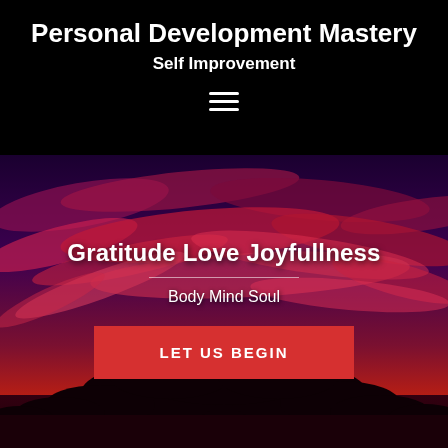Personal Development Mastery
Self Improvement
[Figure (other): Hamburger menu icon (three white horizontal lines) on black background]
[Figure (photo): Dramatic red and purple sunset sky with wispy clouds and a silhouetted tree with glowing sun at horizon]
Gratitude Love Joyfullness
Body Mind Soul
LET US BEGIN